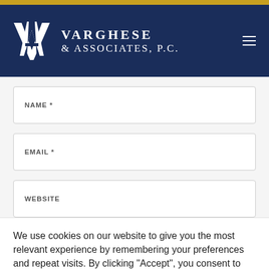[Figure (logo): Varghese & Associates P.C. law firm logo with VA monogram on navy background with gold top bar]
NAME *
EMAIL *
WEBSITE
We use cookies on our website to give you the most relevant experience by remembering your preferences and repeat visits. By clicking “Accept”, you consent to the use of ALL the cookies.
Cookie settings
ACCEPT